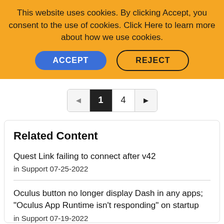This website uses cookies. By clicking Accept, you consent to the use of cookies. Click Here to learn more about how we use cookies.
ACCEPT
REJECT
◄ 1 4 ►
Related Content
Quest Link failing to connect after v42
in Support 07-25-2022
Oculus button no longer display Dash in any apps; "Oculus App Runtime isn't responding" on startup
in Support 07-19-2022